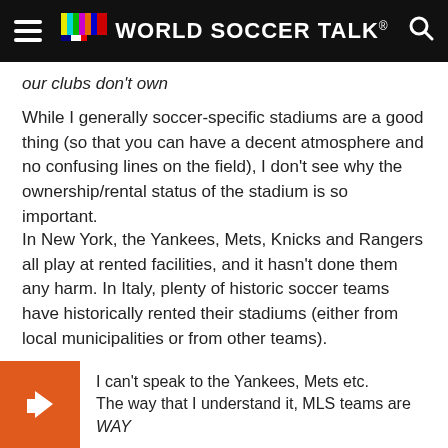World Soccer Talk
our clubs don't own
While I generally soccer-specific stadiums are a good thing (so that you can have a decent atmosphere and no confusing lines on the field), I don't see why the ownership/rental status of the stadium is so important.
In New York, the Yankees, Mets, Knicks and Rangers all play at rented facilities, and it hasn't done them any harm. In Italy, plenty of historic soccer teams have historically rented their stadiums (either from local municipalities or from other teams).
Charles
February 8, 2011 at 10:07 am
I can't speak to the Yankees, Mets etc.
The way that I understand it, MLS teams are WAY